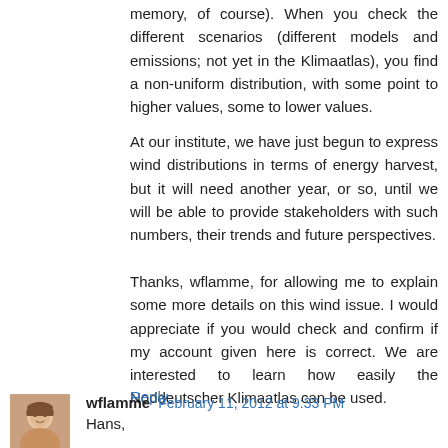memory, of course). When you check the different scenarios (different models and emissions; not yet in the Klimaatlas), you find a non-uniform distribution, with some point to higher values, some to lower values.
At our institute, we have just begun to express wind distributions in terms of energy harvest, but it will need another year, or so, until we will be able to provide stakeholders with such numbers, their trends and future perspectives.
Thanks, wflamme, for allowing me to explain some more details on this wind issue. I would appreciate if you would check and confirm if my account given here is correct. We are interested to learn how easily the Noddeutscher Klimaatlas can be used.
Reply
wflamme  February 11, 2012 at 9:33 PM
Hans,